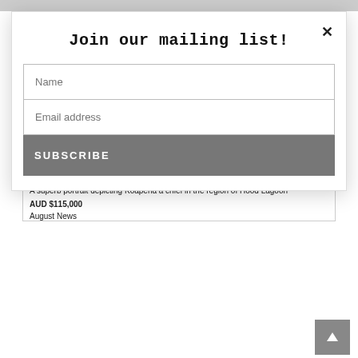Join our mailing list!
Name
Email address
SUBSCRIBE
[Figure (illustration): Partial view of a pencil sketch portrait artwork — appears to be a figure, creamy/beige tones with sketch lines and faint blue floral detail in the lower right, with a signature at the bottom left]
MIKLOUHO-MACLAY, Nicholas .
Portrait of Koapena, Chief of the Aroma district, New Guinea
A superb portrait depicting Koapena a chief in the region of Hood Lagoon
AUD $115,000
August News